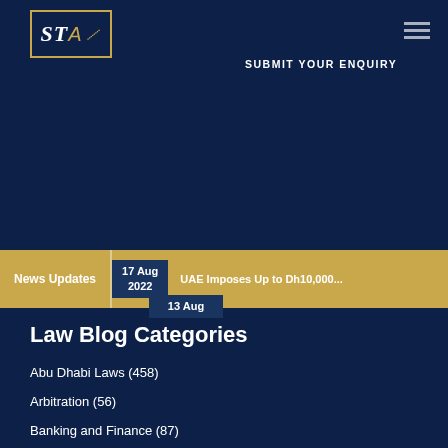[Figure (logo): STA law firm logo with gold border]
SUBMIT YOUR ENQUIRY
News Updates | 17 Aug 2022 | UAE Imposes Up to Dh10,000...
Law Blog Categories
Abu Dhabi Laws (458)
Arbitration (56)
Banking and Finance (87)
Blockchain and Crypto Currency (21)
Civil Law (180)